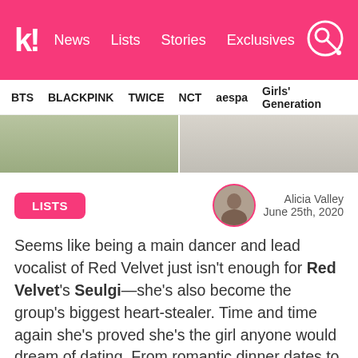k! News Lists Stories Exclusives
BTS  BLACKPINK  TWICE  NCT  aespa  Girls' Generation
[Figure (photo): Two-panel photo strip: left panel shows hands reaching into a colorful box/shelf, right panel shows a plate and utensils on a table.]
LISTS
[Figure (photo): Circular avatar photo of author Alicia Valley with pink border.]
Alicia Valley
June 25th, 2020
Seems like being a main dancer and lead vocalist of Red Velvet just isn't enough for Red Velvet's Seulgi—she's also become the group's biggest heart-stealer. Time and time again she's proved she's the girl anyone would dream of dating. From romantic dinner dates to simply grocery shopping, here are 15 times Seulgi accidentally made everyone think about how